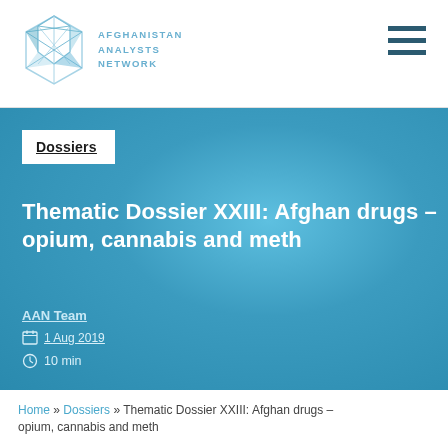AFGHANISTAN ANALYSTS NETWORK
Dossiers
Thematic Dossier XXIII: Afghan drugs – opium, cannabis and meth
AAN Team
1 Aug 2019
10 min
Home » Dossiers » Thematic Dossier XXIII: Afghan drugs – opium, cannabis and meth